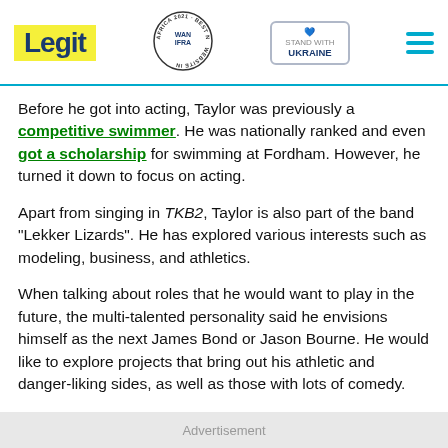Legit | WAN IFRA 2021 Best News Website in Africa | Stand with Ukraine
Before he got into acting, Taylor was previously a competitive swimmer. He was nationally ranked and even got a scholarship for swimming at Fordham. However, he turned it down to focus on acting.
Apart from singing in TKB2, Taylor is also part of the band "Lekker Lizards". He has explored various interests such as modeling, business, and athletics.
When talking about roles that he would want to play in the future, the multi-talented personality said he envisions himself as the next James Bond or Jason Bourne. He would like to explore projects that bring out his athletic and danger-liking sides, as well as those with lots of comedy.
Advertisement